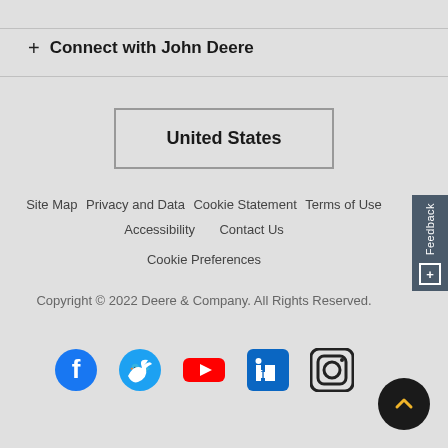+ Connect with John Deere
United States
Site Map
Privacy and Data
Cookie Statement
Terms of Use
Accessibility
Contact Us
Cookie Preferences
Copyright © 2022 Deere & Company. All Rights Reserved.
[Figure (illustration): Social media icons: Facebook, Twitter, YouTube, LinkedIn, Instagram]
Feedback